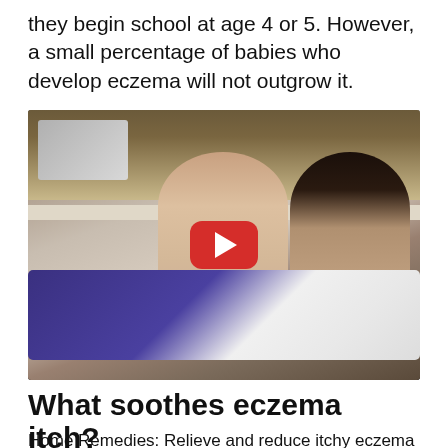they begin school at age 4 or 5. However, a small percentage of babies who develop eczema will not outgrow it.
[Figure (photo): YouTube video thumbnail showing two women in a kitchen, one appears to be demonstrating something with laundry/clothing on a counter. A large red YouTube play button is overlaid in the center.]
What soothes eczema itch?
Home Remedies: Relieve and reduce itchy eczema